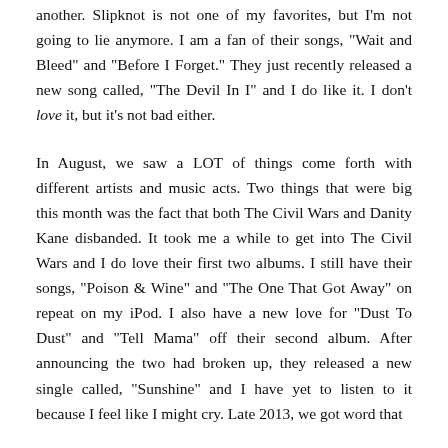another. Slipknot is not one of my favorites, but I'm not going to lie anymore. I am a fan of their songs, "Wait and Bleed" and "Before I Forget." They just recently released a new song called, "The Devil In I" and I do like it. I don't love it, but it's not bad either.
In August, we saw a LOT of things come forth with different artists and music acts. Two things that were big this month was the fact that both The Civil Wars and Danity Kane disbanded. It took me a while to get into The Civil Wars and I do love their first two albums. I still have their songs, "Poison & Wine" and "The One That Got Away" on repeat on my iPod. I also have a new love for "Dust To Dust" and "Tell Mama" off their second album. After announcing the two had broken up, they released a new single called, "Sunshine" and I have yet to listen to it because I feel like I might cry. Late 2013, we got word that